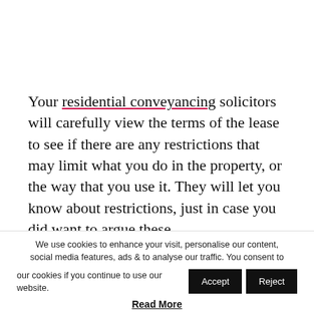Your residential conveyancing solicitors will carefully view the terms of the lease to see if there are any restrictions that may limit what you do in the property, or the way that you use it. They will let you know about restrictions, just in case you did want to argue these.
If you're planning on purchasing a flat or apartment, then make sure that you're fully aware of how the building is managed. In addition to the ground rent...
We use cookies to enhance your visit, personalise our content, social media features, ads & to analyse our traffic. You consent to our cookies if you continue to use our website.